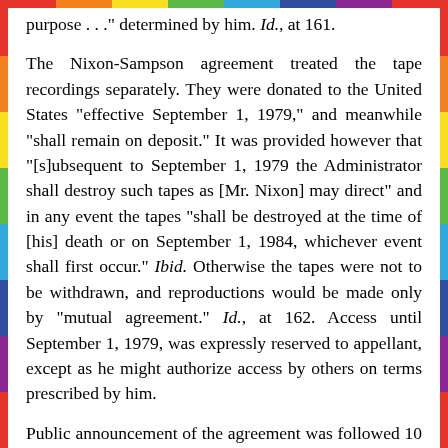purpose . . ." determined by him. Id., at 161.
The Nixon-Sampson agreement treated the tape recordings separately. They were donated to the United States "effective September 1, 1979," and meanwhile "shall remain on deposit." It was provided however that "[s]ubsequent to September 1, 1979 the Administrator shall destroy such tapes as [Mr. Nixon] may direct" and in any event the tapes "shall be destroyed at the time of [his] death or on September 1, 1984, whichever event shall first occur." Ibid. Otherwise the tapes were not to be withdrawn, and reproductions would be made only by "mutual agreement." Id., at 162. Access until September 1, 1979, was expressly reserved to appellant, except as he might authorize access by others on terms prescribed by him.
Public announcement of the agreement was followed 10 days later, September 18, by the